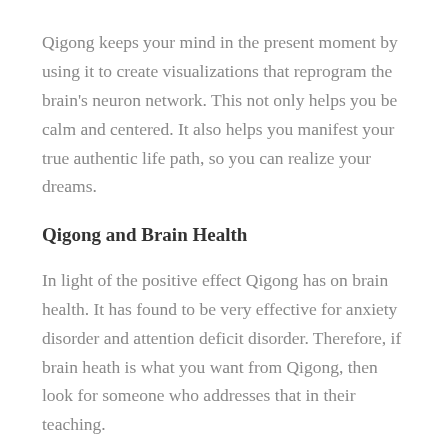Qigong keeps your mind in the present moment by using it to create visualizations that reprogram the brain's neuron network. This not only helps you be calm and centered. It also helps you manifest your true authentic life path, so you can realize your dreams.
Qigong and Brain Health
In light of the positive effect Qigong has on brain health. It has found to be very effective for anxiety disorder and attention deficit disorder. Therefore, if brain heath is what you want from Qigong, then look for someone who addresses that in their teaching.